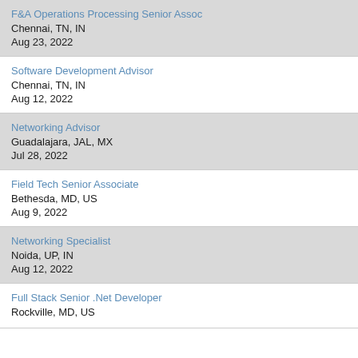F&A Operations Processing Senior Assoc | Chennai, TN, IN | Aug 23, 2022
Software Development Advisor | Chennai, TN, IN | Aug 12, 2022
Networking Advisor | Guadalajara, JAL, MX | Jul 28, 2022
Field Tech Senior Associate | Bethesda, MD, US | Aug 9, 2022
Networking Specialist | Noida, UP, IN | Aug 12, 2022
Full Stack Senior .Net Developer | Rockville, MD, US